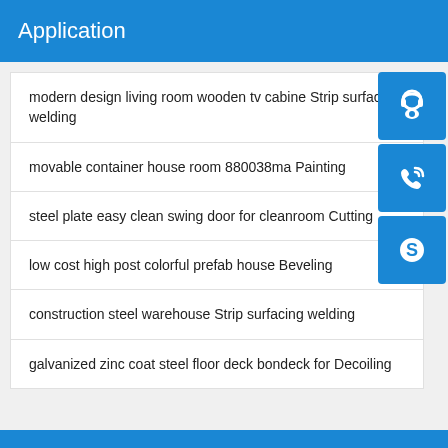Application
modern design living room wooden tv cabine Strip surfacing welding
movable container house room 880038ma Painting
steel plate easy clean swing door for cleanroom Cutting
low cost high post colorful prefab house Beveling
construction steel warehouse Strip surfacing welding
galvanized zinc coat steel floor deck bondeck for Decoiling